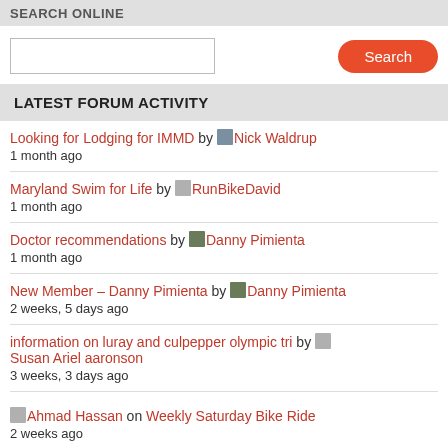SEARCH ONLINE
Search input and button
LATEST FORUM ACTIVITY
Looking for Lodging for IMMD by Nick Waldrup
1 month ago
Maryland Swim for Life by RunBikeDavid
1 month ago
Doctor recommendations by Danny Pimienta
1 month ago
New Member – Danny Pimienta by Danny Pimienta
2 weeks, 5 days ago
information on luray and culpepper olympic tri by Susan Ariel aaronson
3 weeks, 3 days ago
Ahmad Hassan on Weekly Saturday Bike Ride
2 weeks ago
mosered on Weekly Saturday Bike Ride